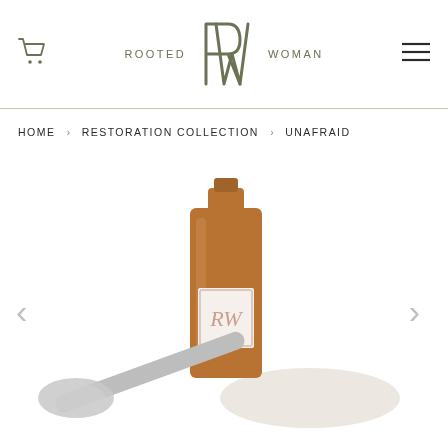ROOTED WOMAN
HOME › RESTORATION COLLECTION › UNAFRAID
[Figure (photo): Product photo of a bronze/copper glass bottle with the Rooted Woman RW logo on the label, lying next to a makeup brush on a white background with dramatic shadow. This is the Unafraid product from the Restoration Collection.]